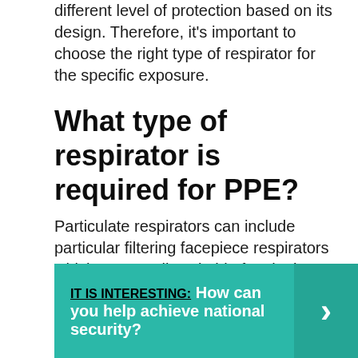different level of protection based on its design. Therefore, it's important to choose the right type of respirator for the specific exposure.
What type of respirator is required for PPE?
Particulate respirators can include particular filtering facepiece respirators which are usually suitable for single use, elastomeric respirators and powered air-purifying respirators.
IT IS INTERESTING:  How can you help achieve national security?